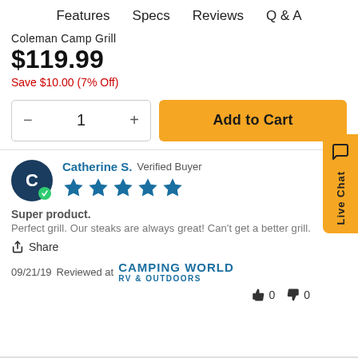Features   Specs   Reviews   Q & A
Coleman Camp Grill
$119.99
Save $10.00 (7% Off)
[Figure (screenshot): Quantity selector with minus and plus buttons showing value 1, and orange Add to Cart button]
Catherine S.  Verified Buyer — 5 stars
Super product.
Perfect grill. Our steaks are always great! Can't get a better grill.
Share
09/21/19 Reviewed at CAMPING WORLD RV & OUTDOORS
0  0 (thumbs up and thumbs down votes)